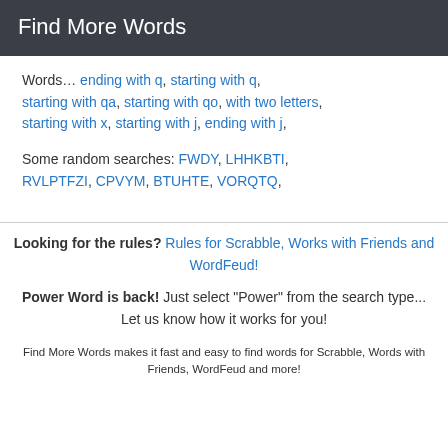Find More Words
Words… ending with q, starting with q, starting with qa, starting with qo, with two letters, starting with x, starting with j, ending with j,
Some random searches: FWDY, LHHKBTI, RVLPTFZI, CPVYM, BTUHTE, VORQTQ,
Looking for the rules? Rules for Scrabble, Works with Friends and WordFeud!
Power Word is back! Just select "Power" from the search type... Let us know how it works for you!
Find More Words makes it fast and easy to find words for Scrabble, Words with Friends, WordFeud and more!